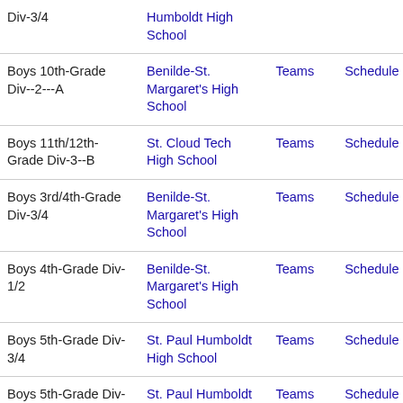| Division | Host School |  |  |
| --- | --- | --- | --- |
| Div-3/4 | Humboldt High School |  |  |
| Boys 10th-Grade Div--2---A | Benilde-St. Margaret's High School | Teams | Schedule |
| Boys 11th/12th-Grade Div-3--B | St. Cloud Tech High School | Teams | Schedule |
| Boys 3rd/4th-Grade Div-3/4 | Benilde-St. Margaret's High School | Teams | Schedule |
| Boys 4th-Grade Div-1/2 | Benilde-St. Margaret's High School | Teams | Schedule |
| Boys 5th-Grade Div-3/4 | St. Paul Humboldt High School | Teams | Schedule |
| Boys 5th-Grade Div--2---A | St. Paul Humboldt High | Teams | Schedule |